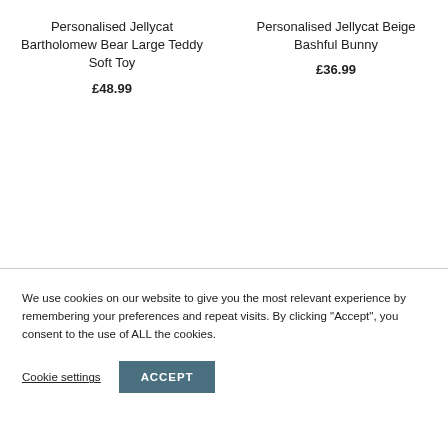Personalised Jellycat Bartholomew Bear Large Teddy Soft Toy
£48.99
Personalised Jellycat Beige Bashful Bunny
£36.99
We use cookies on our website to give you the most relevant experience by remembering your preferences and repeat visits. By clicking "Accept", you consent to the use of ALL the cookies.
Cookie settings
ACCEPT